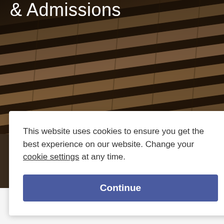[Figure (photo): Close-up photograph of stone or concrete steps/stairs viewed at an angle, with dark brown/amber tones. A cookie consent dialog overlays the lower portion.]
& Admissions
This website uses cookies to ensure you get the best experience on our website. Change your cookie settings at any time.
Continue
School